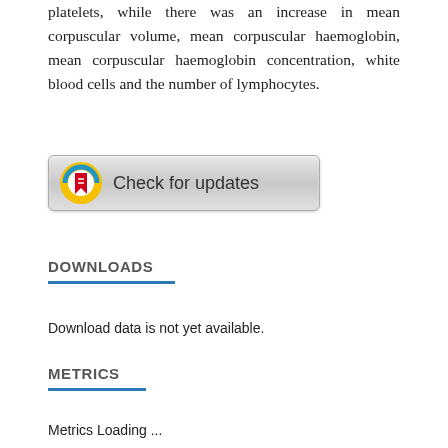platelets, while there was an increase in mean corpuscular volume, mean corpuscular haemoglobin, mean corpuscular haemoglobin concentration, white blood cells and the number of lymphocytes.
[Figure (other): Check for updates button with a circular icon showing a red bookmark on blue and yellow background]
DOWNLOADS
Download data is not yet available.
METRICS
Metrics Loading ...